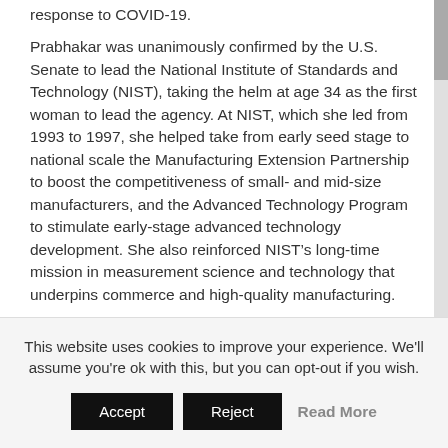response to COVID-19.
Prabhakar was unanimously confirmed by the U.S. Senate to lead the National Institute of Standards and Technology (NIST), taking the helm at age 34 as the first woman to lead the agency. At NIST, which she led from 1993 to 1997, she helped take from early seed stage to national scale the Manufacturing Extension Partnership to boost the competitiveness of small- and mid-size manufacturers, and the Advanced Technology Program to stimulate early-stage advanced technology development. She also reinforced NIST’s long-time mission in measurement science and technology that underpins commerce and high-quality manufacturing.
This website uses cookies to improve your experience. We'll assume you're ok with this, but you can opt-out if you wish.
Accept   Reject   Read More